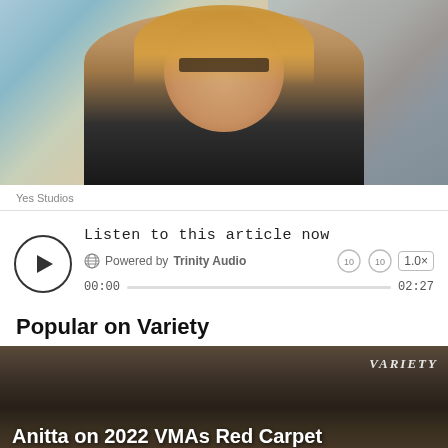[Figure (photo): Woman with blonde hair and glasses smiling in front of a city building background]
Yes Studios
[Figure (screenshot): Audio player widget: Listen to this article now, Powered by Trinity Audio, 00:00 to 02:27, 1.0x speed]
Popular on Variety
[Figure (screenshot): Video thumbnail: Anitta on 2022 VMAs Red Carpet with Variety watermark logo]